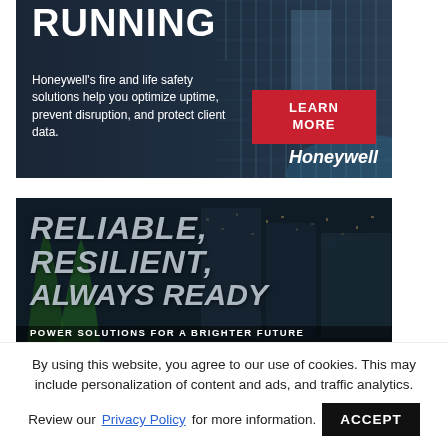[Figure (illustration): Honeywell advertisement banner: dark blue background with building/glass facade, bold white text 'RUNNING', descriptive text about fire and life safety solutions, red 'LEARN MORE' button, Honeywell brand name in white italic.]
[Figure (illustration): Second advertisement banner: nighttime city building photo with large gray italic text 'RELIABLE, RESILIENT, ALWAYS READY' and white bold subtitle 'POWER SOLUTIONS FOR A BRIGHTER FUTURE'.]
By using this website, you agree to our use of cookies. This may include personalization of content and ads, and traffic analytics.
Review our Privacy Policy for more information. ACCEPT